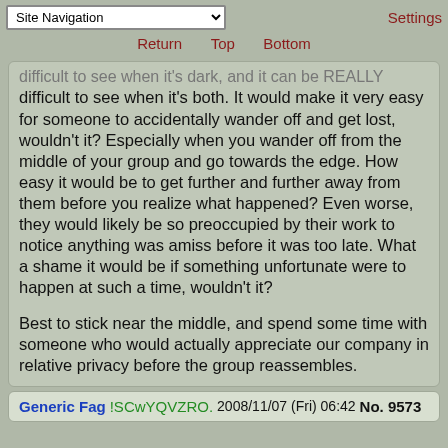Site Navigation | Settings | Return | Top | Bottom
difficult to see when it's dark, and it can be REALLY difficult to see when it's both. It would make it very easy for someone to accidentally wander off and get lost, wouldn't it? Especially when you wander off from the middle of your group and go towards the edge. How easy it would be to get further and further away from them before you realize what happened? Even worse, they would likely be so preoccupied by their work to notice anything was amiss before it was too late. What a shame it would be if something unfortunate were to happen at such a time, wouldn't it?

Best to stick near the middle, and spend some time with someone who would actually appreciate our company in relative privacy before the group reassembles.
Generic Fag !SCwYQVZRO. 2008/11/07 (Fri) 06:42 No. 9573